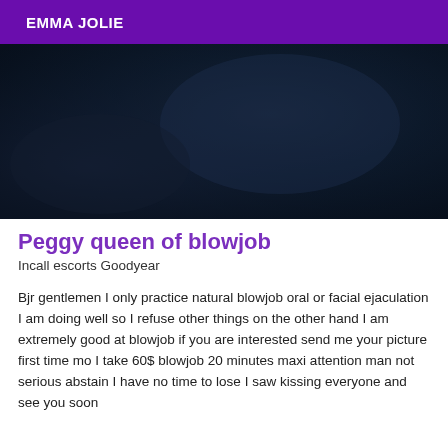EMMA JOLIE
[Figure (photo): Dark blurred background image with deep navy/dark blue tones]
Peggy queen of blowjob
Incall escorts Goodyear
Bjr gentlemen I only practice natural blowjob oral or facial ejaculation I am doing well so I refuse other things on the other hand I am extremely good at blowjob if you are interested send me your picture first time mo I take 60$ blowjob 20 minutes maxi attention man not serious abstain I have no time to lose I saw kissing everyone and see you soon